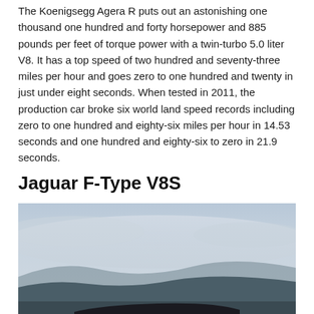The Koenigsegg Agera R puts out an astonishing one thousand one hundred and forty horsepower and 885 pounds per feet of torque power with a twin-turbo 5.0 liter V8. It has a top speed of two hundred and seventy-three miles per hour and goes zero to one hundred and twenty in just under eight seconds. When tested in 2011, the production car broke six world land speed records including zero to one hundred and eighty-six miles per hour in 14.53 seconds and one hundred and eighty-six to zero in 21.9 seconds.
Jaguar F-Type V8S
[Figure (photo): Photograph of a car (Jaguar F-Type V8S) on a road with a hazy sky and hills in the background. The image is partially visible, showing mainly the sky and landscape with the top of the car visible at the bottom edge.]